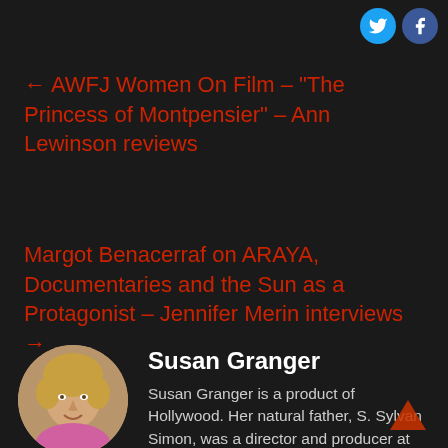[Figure (other): Social media icons: Twitter (blue circle) and Facebook (blue circle) in top right corner]
← AWFJ Women On Film – “The Princess of Montpensier” – Ann Lewinson reviews
Margot Benacerraf on ARAYA, Documentaries and the Sun as a Protagonist – Jennifer Merin interviews →
[Figure (photo): Circular portrait photo of Susan Granger, a woman with short blonde hair wearing a pink top]
Susan Granger
Susan Granger is a product of Hollywood. Her natural father, S. Sylvan Simon, was a director and producer at R.K.O., M.G.M. and